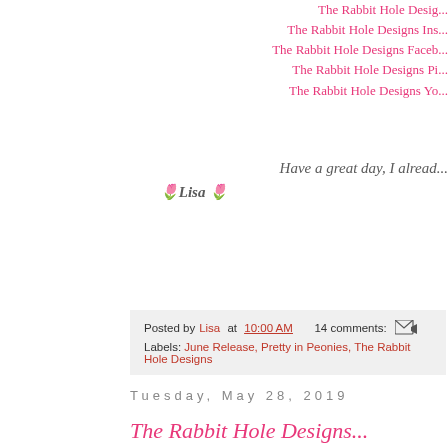The Rabbit Hole Desig...
The Rabbit Hole Designs Ins...
The Rabbit Hole Designs Faceb...
The Rabbit Hole Designs Pi...
The Rabbit Hole Designs Yo...
Have a great day, I alread...
🌷Lisa 🌷
Posted by Lisa at 10:00 AM   14 comments:  [email icon]  Labels: June Release, Pretty in Peonies, The Rabbit Hole Designs
Tuesday, May 28, 2019
The Rabbit Hole Designs...